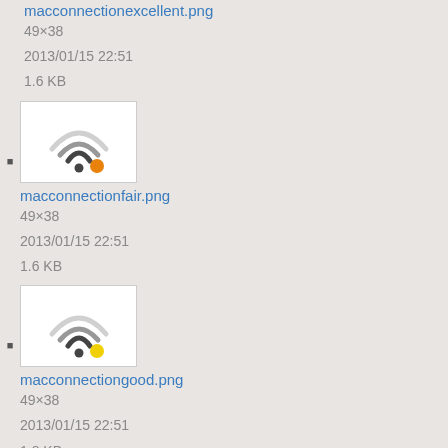macconnectionexcellent.png
49×38
2013/01/15 22:51
1.6 KB
[Figure (illustration): WiFi icon with orange dot]
macconnectionfair.png
49×38
2013/01/15 22:51
1.6 KB
[Figure (illustration): WiFi icon with yellow dot]
macconnectiongood.png
49×38
2013/01/15 22:51
1.8 KB
[Figure (illustration): WiFi icon with red dot]
macconnectionpoor.png
49×38